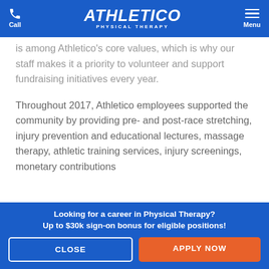Call | ATHLETICO PHYSICAL THERAPY | Menu
is among Athletico's core values, which is why our staff makes it a priority to volunteer and support fundraising initiatives every year.
Throughout 2017, Athletico employees supported the community by providing pre- and post-race stretching, injury prevention and educational lectures, massage therapy, athletic training services, injury screenings, monetary contributions
Looking for a career in Physical Therapy? Up to $30k sign-on bonus for eligible positions!
CLOSE
APPLY NOW